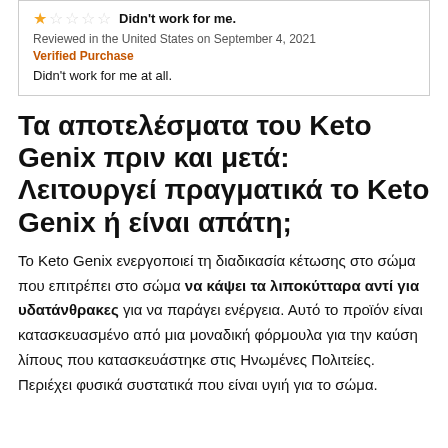★☆☆☆☆ Didn't work for me.
Reviewed in the United States on September 4, 2021
Verified Purchase
Didn't work for me at all.
Τα αποτελέσματα του Keto Genix πριν και μετά: Λειτουργεί πραγματικά το Keto Genix ή είναι απάτη;
Το Keto Genix ενεργοποιεί τη διαδικασία κέτωσης στο σώμα που επιτρέπει στο σώμα να κάψει τα λιποκύτταρα αντί για υδατάνθρακες για να παράγει ενέργεια. Αυτό το προϊόν είναι κατασκευασμένο από μια μοναδική φόρμουλα για την καύση λίπους που κατασκευάστηκε στις Ηνωμένες Πολιτείες. Περιέχει φυσικά συστατικά που είναι υγιή για το σώμα.